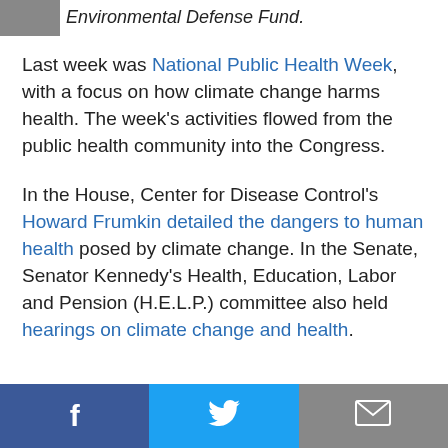Environmental Defense Fund.
Last week was National Public Health Week, with a focus on how climate change harms health. The week's activities flowed from the public health community into the Congress.
In the House, Center for Disease Control's Howard Frumkin detailed the dangers to human health posed by climate change. In the Senate, Senator Kennedy's Health, Education, Labor and Pension (H.E.L.P.) committee also held hearings on climate change and health.